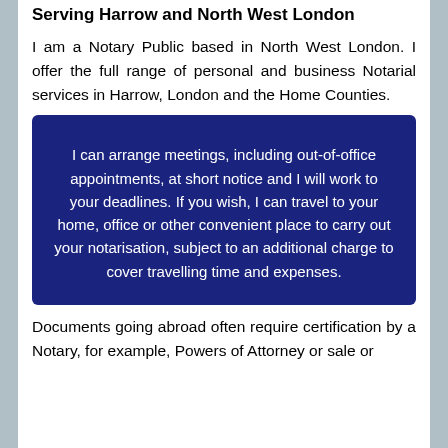Serving Harrow and North West London
I am a Notary Public based in North West London. I offer the full range of personal and business Notarial services in Harrow, London and the Home Counties.
I can arrange meetings, including out-of-office appointments, at short notice and I will work to your deadlines. If you wish, I can travel to your home, office or other convenient place to carry out your notarisation, subject to an additional charge to cover travelling time and expenses.
Documents going abroad often require certification by a Notary, for example, Powers of Attorney or sale or